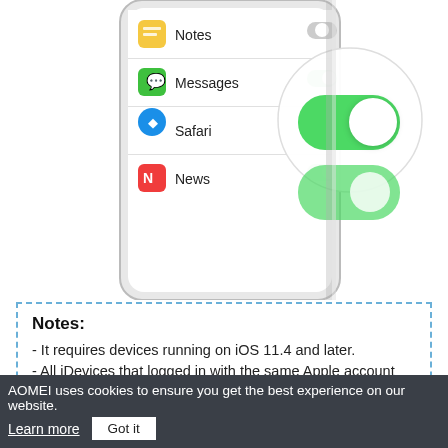[Figure (screenshot): iPhone screenshot showing iOS Settings app with iCloud toggles for Notes, Messages, Safari, and News apps. Messages toggle is highlighted in a zoomed circle showing it is switched on (green).]
Notes:
- It requires devices running on iOS 11.4 and later.
- All iDevices that logged in with the same Apple account will see the iMessages.
- iCloud only offers 5 GB free storage space to store your data.
Method 2. Transfer Messages from iPhone to iPhone via AOMEI MBackupper
AOMEI uses cookies to ensure you get the best experience on our website.
Learn more   Got it